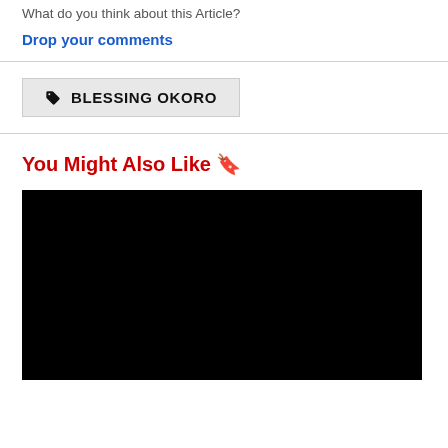What do you think about this Article?
Drop your comments
BLESSING OKORO
You Might Also Like 🔖
[Figure (photo): Black/dark image placeholder for related article]